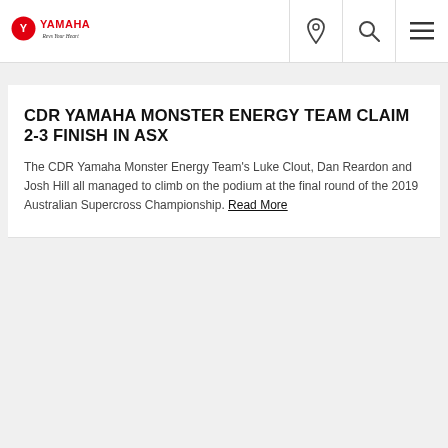YAMAHA — Revs Your Heart
CDR YAMAHA MONSTER ENERGY TEAM CLAIM 2-3 FINISH IN ASX
The CDR Yamaha Monster Energy Team's Luke Clout, Dan Reardon and Josh Hill all managed to climb on the podium at the final round of the 2019 Australian Supercross Championship. Read More